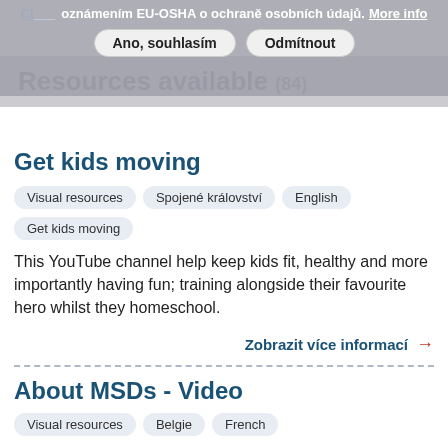Cl… oznámením EU-OSHA o ochraně osobních údajů. More info
Resources available (84)
Get kids moving
Visual resources
Spojené království
English
Get kids moving
This YouTube channel help keep kids fit, healthy and more importantly having fun; training alongside their favourite hero whilst they homeschool.
Zobrazit více informací →
About MSDs - Video
Visual resources
Belgie
French